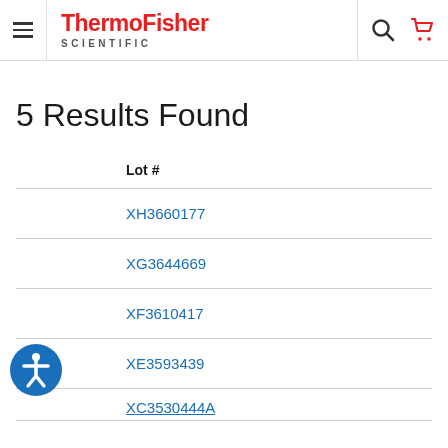ThermoFisher SCIENTIFIC
5 Results Found
| Lot # |
| --- |
| XH3660177 |
| XG3644669 |
| XF3610417 |
| XE3593439 |
| XC3530444A |